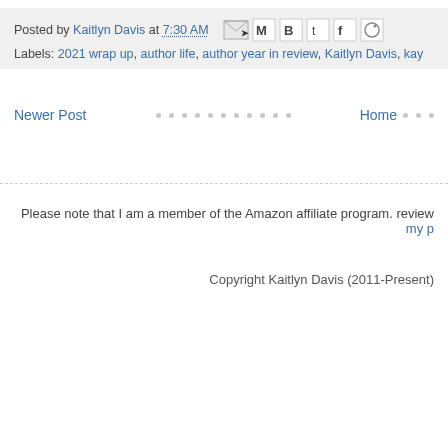Posted by Kaitlyn Davis at 7:30 AM [share icons]
Labels: 2021 wrap up, author life, author year in review, Kaitlyn Davis, kay...
Newer Post · · · · · · · · · · · Home · · ·
Please note that I am a member of the Amazon affiliate program. review my p...
Copyright Kaitlyn Davis (2011-Present)